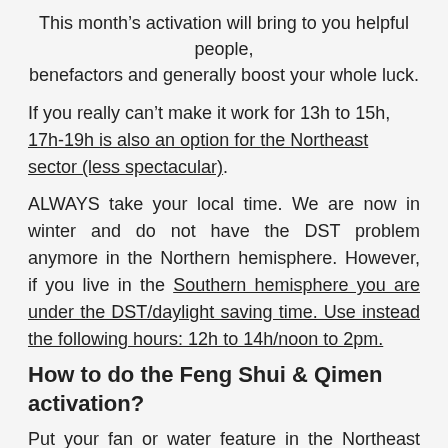This month's activation will bring to you helpful people, benefactors and generally boost your whole luck.
If you really can't make it work for 13h to 15h, 17h-19h is also an option for the Northeast sector (less spectacular).
ALWAYS take your local time. We are now in winter and do not have the DST problem anymore in the Northern hemisphere. However, if you live in the Southern hemisphere you are under the DST/daylight saving time. Use instead the following hours: 12h to 14h/noon to 2pm.
How to do the Feng Shui & Qimen activation?
Put your fan or water feature in the Northeast sector of your home, or business premises. Start it between 13h and 13h30; leave it on and then turn it off after 15h (Northern hemisphere time).